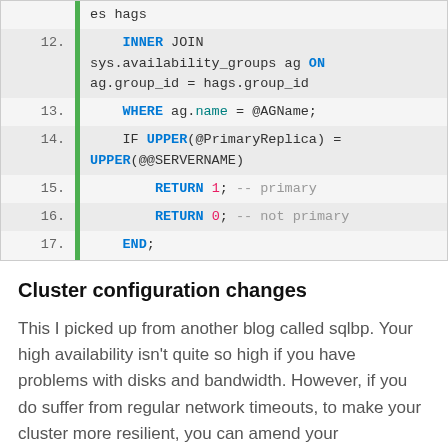[Figure (screenshot): SQL code block showing lines 12-17 with syntax highlighting. Line 12: INNER JOIN sys.availability_groups ag ON ag.group_id = hags.group_id. Line 13: WHERE ag.name = @AGName;. Line 14: IF UPPER(@PrimaryReplica) = UPPER(@@SERVERNAME). Line 15: RETURN 1; -- primary. Line 16: RETURN 0; -- not primary. Line 17: END;]
Cluster configuration changes
This I picked up from another blog called sqlbp. Your high availability isn't quite so high if you have problems with disks and bandwidth. However, if you do suffer from regular network timeouts, to make your cluster more resilient, you can amend your